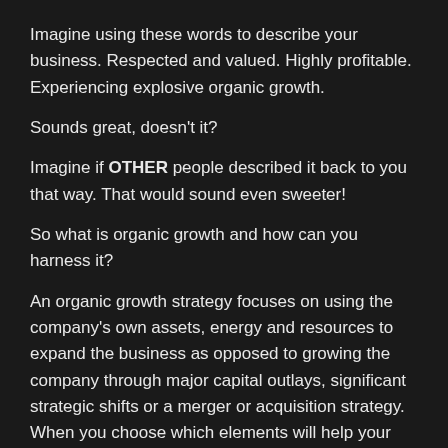Imagine using these words to describe your business. Respected and valued. Highly profitable. Experiencing explosive organic growth.
Sounds great, doesn't it?
Imagine if OTHER people described it back to you that way. That would sound even sweeter!
So what is organic growth and how can you harness it?
An organic growth strategy focuses on using the company's own assets, energy and resources to expand the business as opposed to growing the company through major capital outlays, significant strategic shifts or a merger or acquisition strategy.  When you choose which elements will help your business grow, plan them out properly, execute the plan diligently and additiby the effect the results and resources and